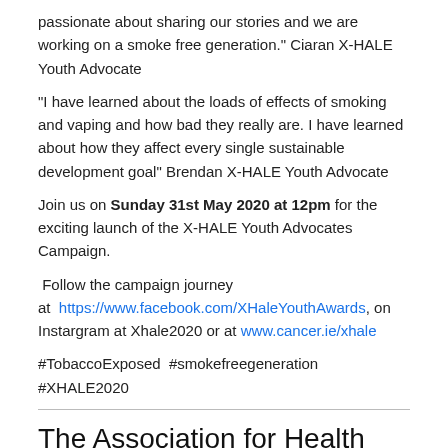passionate about sharing our stories and we are working on a smoke free generation." Ciaran X-HALE Youth Advocate
"I have learned about the loads of effects of smoking and vaping and how bad they really are. I have learned about how they affect every single sustainable development goal" Brendan X-HALE Youth Advocate
Join us on Sunday 31st May 2020 at 12pm for the exciting launch of the X-HALE Youth Advocates Campaign.
Follow the campaign journey at https://www.facebook.com/XHaleYouthAwards, on Instargram at Xhale2020 or at www.cancer.ie/xhale
#TobaccoExposed #smokefreegeneration #XHALE2020
The Association for Health Promotion Ireland have joined with The Irish Heart Foundation and The Irish Cancer Society